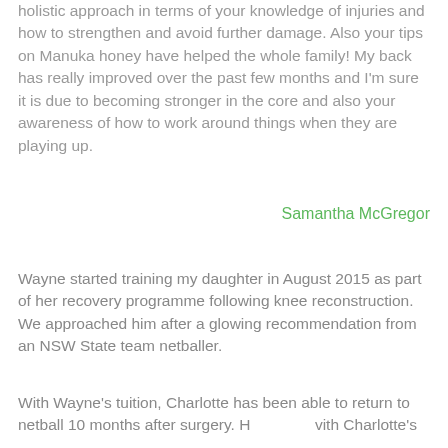holistic approach in terms of your knowledge of injuries and how to strengthen and avoid further damage. Also your tips on Manuka honey have helped the whole family! My back has really improved over the past few months and I'm sure it is due to becoming stronger in the core and also your awareness of how to work around things when they are playing up.
Samantha McGregor
Wayne started training my daughter in August 2015 as part of her recovery programme following knee reconstruction. We approached him after a glowing recommendation from an NSW State team netballer.
With Wayne's tuition, Charlotte has been able to return to netball 10 months after surgery. H... vith Charlotte's